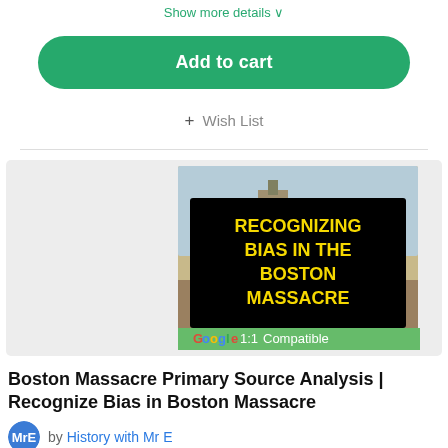Show more details ▾
Add to cart
+ Wish List
[Figure (illustration): Product thumbnail showing a historical scene from the Boston Massacre with an overlay text reading 'Recognizing Bias in the Boston Massacre' in yellow text on black background, and a 'Google 1:1 Compatible' banner at the bottom.]
Boston Massacre Primary Source Analysis | Recognize Bias in Boston Massacre
by History with Mr E